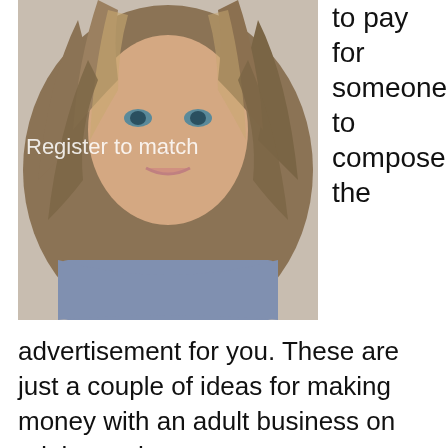[Figure (photo): Photo of a young woman with long wavy brown hair wearing a grey top. Text overlay reads 'Register to match']
to pay for someone to compose the
advertisement for you. These are just a couple of ideas for making money with an adult business on adultsearch.
[Figure (illustration): Anime-style illustration of a young girl with blonde wavy hair and large brown eyes, wearing a white bow accessory]
You may want to know if all this is legal. Yes it is. You can post any